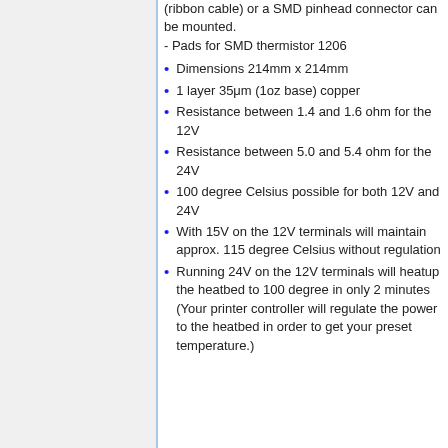(ribbon cable) or a SMD pinhead connector can be mounted.
- Pads for SMD thermistor 1206
Dimensions 214mm x 214mm
1 layer 35μm (1oz base) copper
Resistance between 1.4 and 1.6 ohm for the 12V
Resistance between 5.0 and 5.4 ohm for the 24V
100 degree Celsius possible for both 12V and 24V
With 15V on the 12V terminals will maintain approx. 115 degree Celsius without regulation
Running 24V on the 12V terminals will heatup the heatbed to 100 degree in only 2 minutes (Your printer controller will regulate the power to the heatbed in order to get your preset temperature.)